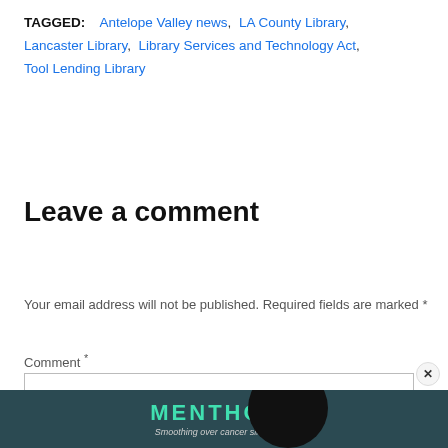TAGGED: Antelope Valley news, LA County Library, Lancaster Library, Library Services and Technology Act, Tool Lending Library
Leave a comment
Your email address will not be published. Required fields are marked *
Comment *
[Figure (other): Advertisement banner with teal text reading MENTHOLS and italic subtitle 'Smoothing over cancer since 1921' on dark teal background]